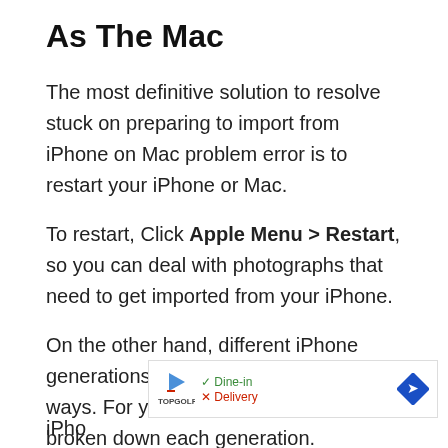As The Mac
The most definitive solution to resolve stuck on preparing to import from iPhone on Mac problem error is to restart your iPhone or Mac.
To restart, Click Apple Menu > Restart, so you can deal with photographs that need to get imported from your iPhone.
On the other hand, different iPhone generations get rebooted in various ways. For your convenience, we’ve broken down each generation.
[Figure (other): Advertisement banner for TopGolf showing Dine-in and Delivery options with navigation icon]
iPho…